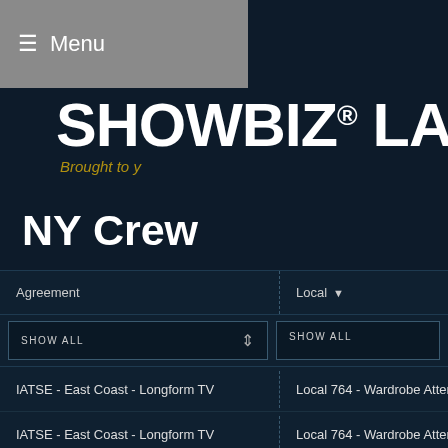≡ Menu
SHOWBIZ® LABO
Brought to y
NY Crew
| Agreement | Local ▼ |
| --- | --- |
| SHOW ALL | SHOW ALL |
| IATSE - East Coast - Longform TV | Local 764 - Wardrobe Attenda... |
| IATSE - East Coast - Longform TV | Local 764 - Wardrobe Attenda... |
| IATSE - East Coast - Longform TV | Local 798 - Makeup and Hair... |
| IATSE - East Coast - Longform TV | Local 798 - Makeup and Hair... |
| IATSE - East Coast - Longform TV | Local 798 - Makeup and Hair... |